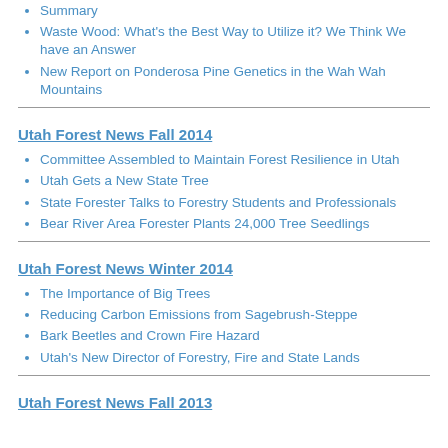Summary
Waste Wood: What's the Best Way to Utilize it? We Think We have an Answer
New Report on Ponderosa Pine Genetics in the Wah Wah Mountains
Utah Forest News Fall 2014
Committee Assembled to Maintain Forest Resilience in Utah
Utah Gets a New State Tree
State Forester Talks to Forestry Students and Professionals
Bear River Area Forester Plants 24,000 Tree Seedlings
Utah Forest News Winter 2014
The Importance of Big Trees
Reducing Carbon Emissions from Sagebrush-Steppe
Bark Beetles and Crown Fire Hazard
Utah's New Director of Forestry, Fire and State Lands
Utah Forest News Fall 2013